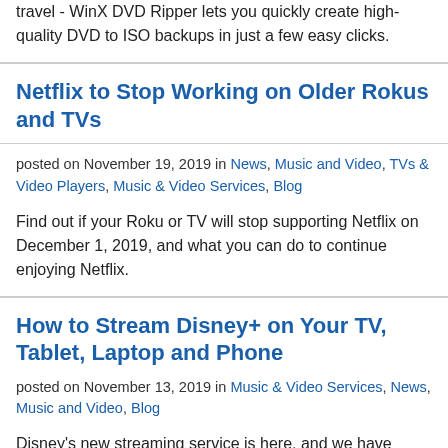travel - WinX DVD Ripper lets you quickly create high-quality DVD to ISO backups in just a few easy clicks.
Netflix to Stop Working on Older Rokus and TVs
posted on November 19, 2019 in News, Music and Video, TVs & Video Players, Music & Video Services, Blog
Find out if your Roku or TV will stop supporting Netflix on December 1, 2019, and what you can do to continue enjoying Netflix.
How to Stream Disney+ on Your TV, Tablet, Laptop and Phone
posted on November 13, 2019 in Music & Video Services, News, Music and Video, Blog
Disney's new streaming service is here, and we have everything you need to know about how and where you can start watching.